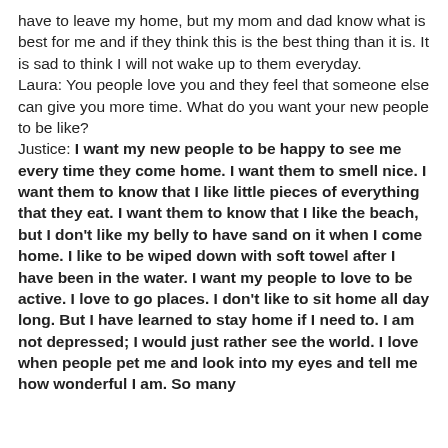have to leave my home, but my mom and dad know what is best for me and if they think this is the best thing than it is. It is sad to think I will not wake up to them everyday.
Laura: You people love you and they feel that someone else can give you more time. What do you want your new people to be like?
Justice: I want my new people to be happy to see me every time they come home. I want them to smell nice. I want them to know that I like little pieces of everything that they eat. I want them to know that I like the beach, but I don't like my belly to have sand on it when I come home. I like to be wiped down with soft towel after I have been in the water. I want my people to love to be active. I love to go places. I don't like to sit home all day long. But I have learned to stay home if I need to. I am not depressed; I would just rather see the world. I love when people pet me and look into my eyes and tell me how wonderful I am. So many